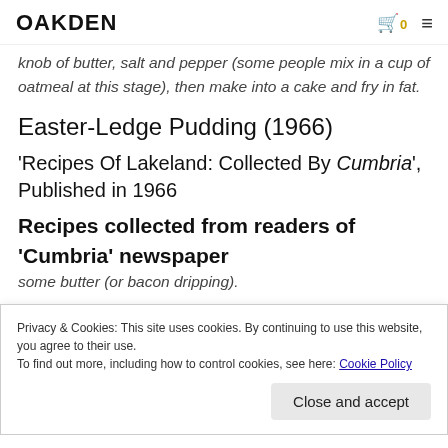OAKDEN
knob of butter, salt and pepper (some people mix in a cup of oatmeal at this stage), then make into a cake and fry in fat.
Easter-Ledge Pudding (1966)
'Recipes Of Lakeland: Collected By Cumbria', Published in 1966
Recipes collected from readers of 'Cumbria' newspaper
Privacy & Cookies: This site uses cookies. By continuing to use this website, you agree to their use.
To find out more, including how to control cookies, see here: Cookie Policy
some butter (or bacon dripping).